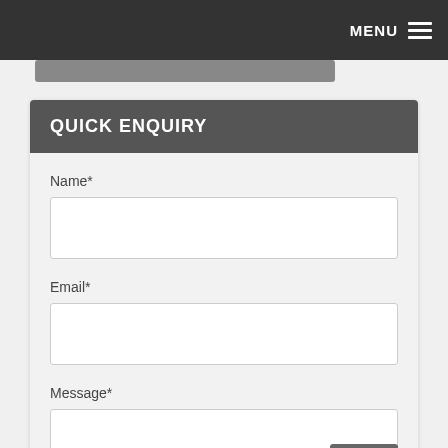MENU
QUICK ENQUIRY
Name*
Email*
Message*